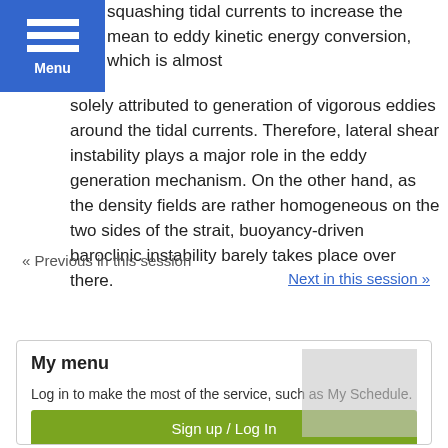Menu
squashing tidal currents to increase the mean to eddy kinetic energy conversion, which is almost solely attributed to generation of vigorous eddies around the tidal currents. Therefore, lateral shear instability plays a major role in the eddy generation mechanism. On the other hand, as the density fields are rather homogeneous on the two sides of the strait, buoyancy-driven baroclinic instability barely takes place over there.
« Previous in this session
Next in this session »
My menu
Log in to make the most of the service, such as My Schedule.
Sign up / Log In